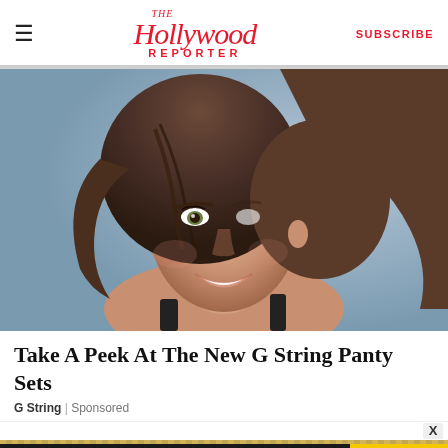The Hollywood Reporter | SUBSCRIBE
[Figure (photo): Close-up photo of a smiling brunette woman with windswept hair, wearing a black tank top, against a light blue/grey background]
Take A Peek At The New G String Panty Sets
G String | Sponsored
[Figure (advertisement): Men's Skincare Hack - Hide Acne For $24 - SPY advertisement banner with yellow and black design]